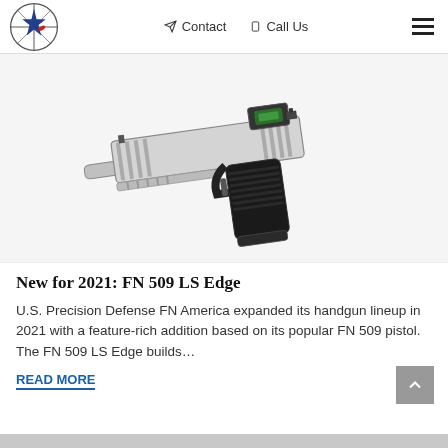Contact | Call Us | (menu)
[Figure (photo): FN 509 LS Edge pistol with red dot optic, silver and black finish, shown at an angle on a light gray background]
New for 2021: FN 509 LS Edge
U.S. Precision Defense FN America expanded its handgun lineup in 2021 with a feature-rich addition based on its popular FN 509 pistol. The FN 509 LS Edge builds…
READ MORE